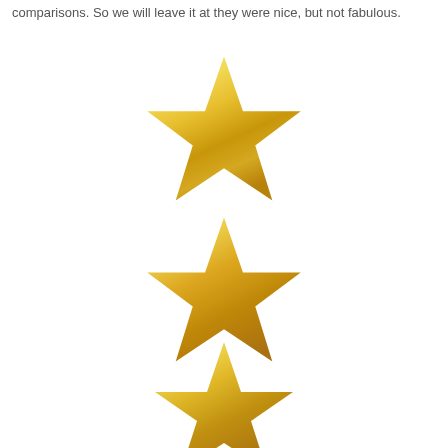comparisons. So we will leave it at they were nice, but not fabulous.
[Figure (illustration): Three gold metallic stars arranged vertically in the center of the page, representing a 3-star rating.]